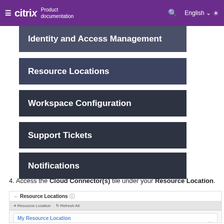citrix Product documentation | English
Identity and Access Management
Resource Locations
Workspace Configuration
Support Tickets
Notifications
4. Access the Cloud Connector(s) tile under your Resource Location.
[Figure (screenshot): Screenshot of Citrix Cloud Resource Locations page showing a card labeled 'My Resource Location' with tiles below including an orange tile showing '14' and plus buttons]